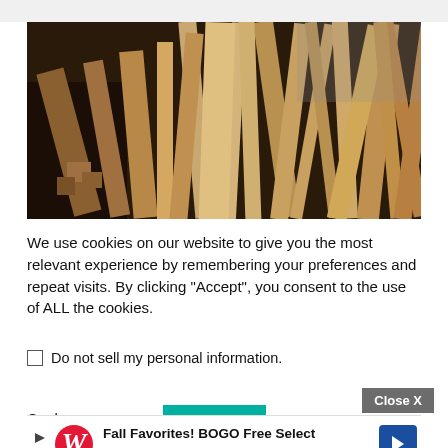[Figure (photo): Pile of wooden planks and lumber pieces stacked together, various widths and lengths, photographed indoors]
We use cookies on our website to give you the most relevant experience by remembering your preferences and repeat visits. By clicking “Accept”, you consent to the use of ALL the cookies.
Do not sell my personal information.
Cook
[Figure (infographic): Advertisement banner: Walgreens logo with text 'Fall Favorites! BOGO Free Select Vitamins and Supplements' and a blue diamond arrow icon]